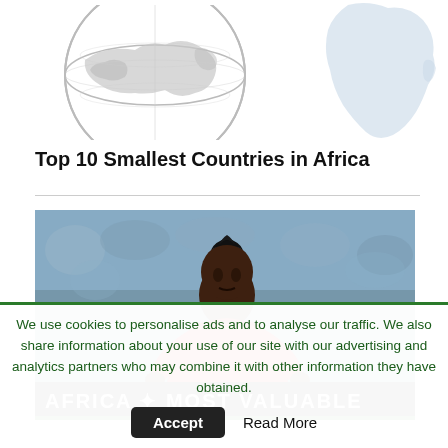[Figure (illustration): Partial globe/world map illustration at top left, and outline of Africa map at top right, both in light grey tones on white background]
Top 10 Smallest Countries in Africa
[Figure (photo): A football player wearing a red Liverpool FC jersey running on a pitch with a crowd in the background. A black banner at the bottom reads 'AFRICA MOST VALUABLE' in white bold uppercase letters.]
We use cookies to personalise ads and to analyse our traffic. We also share information about your use of our site with our advertising and analytics partners who may combine it with other information they have obtained.
Accept   Read More